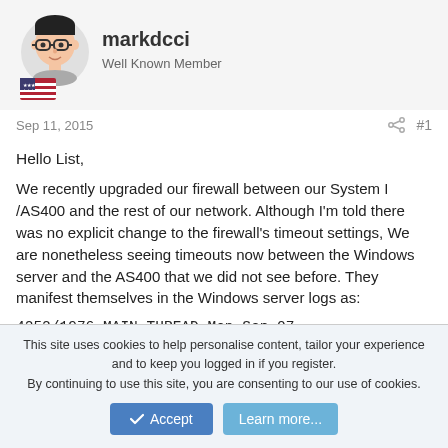[Figure (illustration): Forum user avatar: cartoon face with glasses and a US flag icon below, on a gray background]
markdcci
Well Known Member
Sep 11, 2015
#1
Hello List,
We recently upgraded our firewall between our System I /AS400 and the rest of our network. Although I'm told there was no explicit change to the firewall's timeout settings, We are nonetheless seeing timeouts now between the Windows server and the AS400 that we did not see before. They manifest themselves in the Windows server logs as:
4252/1976 MAIN_THREAD Mon Sep 07 02:14:49.195000 ODBCLOG.C436
This site uses cookies to help personalise content, tailor your experience and to keep you logged in if you register.
By continuing to use this site, you are consenting to our use of cookies.
Accept
Learn more...